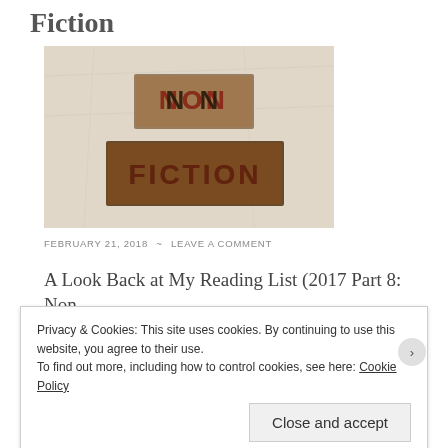Fiction
[Figure (photo): Vintage wooden letterpress blocks spelling out NON FICTION on a crumpled paper background]
FEBRUARY 21, 2018  ~  LEAVE A COMMENT
A Look Back at My Reading List (2017 Part 8: Non
Privacy & Cookies: This site uses cookies. By continuing to use this website, you agree to their use.
To find out more, including how to control cookies, see here: Cookie Policy
Close and accept